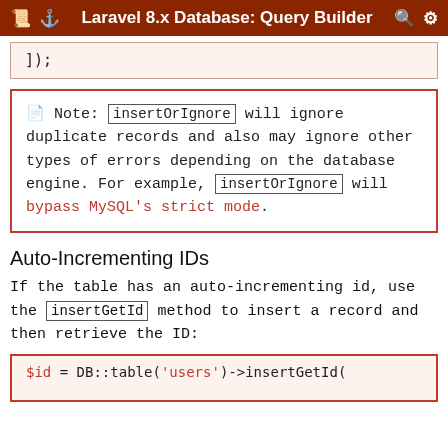Laravel 8.x Database: Query Builder
]);
Note: insertOrIgnore will ignore duplicate records and also may ignore other types of errors depending on the database engine. For example, insertOrIgnore will bypass MySQL's strict mode.
Auto-Incrementing IDs
If the table has an auto-incrementing id, use the insertGetId method to insert a record and then retrieve the ID:
$id = DB::table('users')->insertGetId(